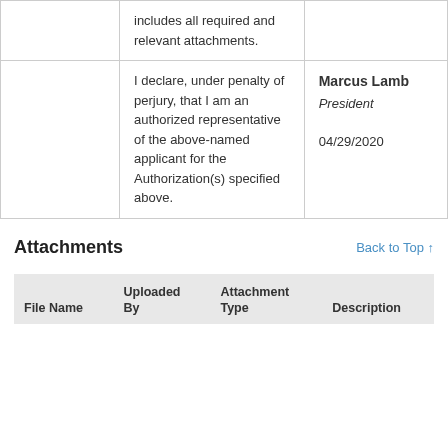|  | Statement | Signatory |
| --- | --- | --- |
|  | includes all required and relevant attachments. |  |
|  | I declare, under penalty of perjury, that I am an authorized representative of the above-named applicant for the Authorization(s) specified above. | Marcus Lamb
President
04/29/2020 |
Attachments
Back to Top ↑
| File Name | Uploaded By | Attachment Type | Description |
| --- | --- | --- | --- |